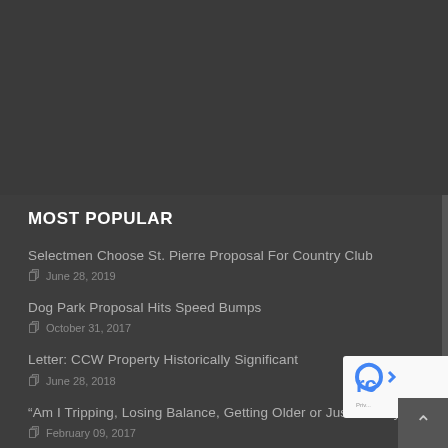MOST POPULAR
Selectmen Choose St. Pierre Proposal For Country Club
Dog Park Proposal Hits Speed Bumps
Letter: CCW Property Historically Significant
“Am I Tripping, Losing Balance, Getting Older or Just Clumsy?